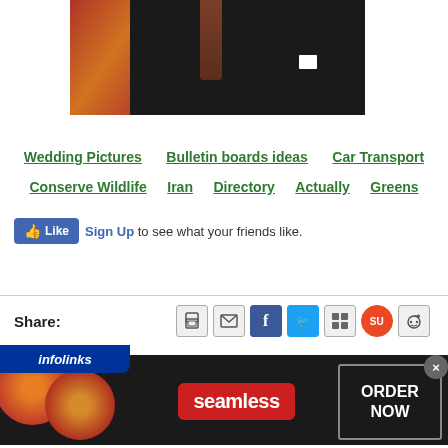[Figure (photo): Partial photo of a man in a dark suit with a red/brown patterned tie and white pocket square, with an orange/red background element visible on the left side.]
Wedding Pictures
Bulletin boards ideas
Car Transport
Conserve Wildlife
Iran
Directory
Actually
Greens
Sign Up to see what your friends like.
Share:
[Figure (screenshot): Infolinks ad banner showing a Seamless food delivery advertisement with pizza images, the Seamless logo in red, and an ORDER NOW button.]